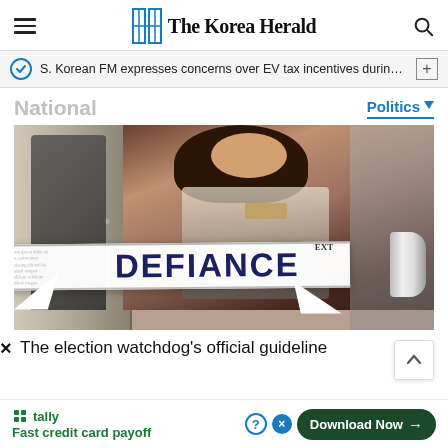The Korea Herald
S. Korean FM expresses concerns over EV tax incentives during c···
National
Politics
[Figure (photo): Advertisement image for a drama or series titled 'DEFIANCE' — shows a couple in an intimate pose with a torn newspaper banner across the middle displaying the word DEFIANCE in bold dark blue text.]
The election watchdog's official guideline
tally — Fast credit card payoff — Download Now